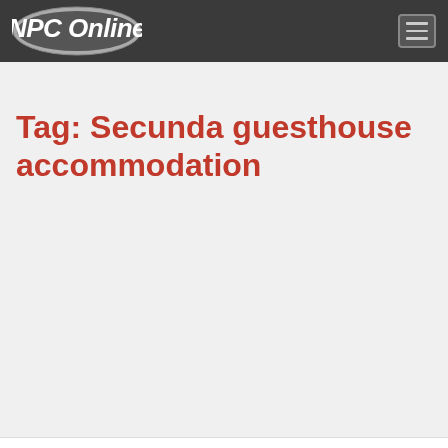NPC Online
Tag: Secunda guesthouse accommodation